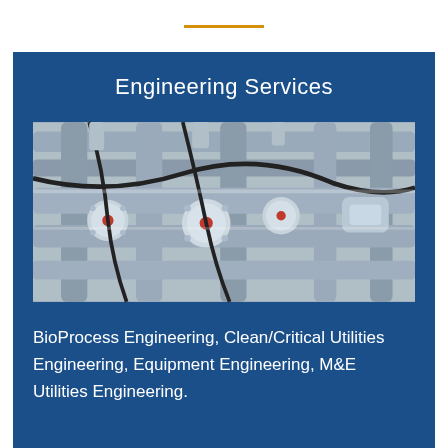Engineering Services
[Figure (photo): Close-up photograph of industrial stainless steel piping, valves, and fittings — typical of bioprocess or pharmaceutical clean utility systems. Multiple cylindrical valves with red indicator dots are visible against a background of interconnected pipes and tubing.]
BioProcess Engineering, Clean/Critical Utilities Engineering, Equipment Engineering, M&E Utilities Engineering.